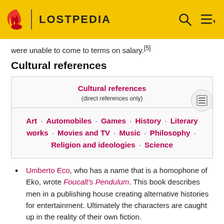LOSTPEDIA
were unable to come to terms on salary.[5]
Cultural references
| Cultural references (direct references only) |
| --- |
| Art · Automobiles · Games · History · Literary works · Movies and TV · Music · Philosophy · Religion and ideologies · Science |
Umberto Eco, who has a name that is a homophone of Eko, wrote Foucalt's Pendulum. This book describes men in a publishing house creating alternative histories for entertainment. Ultimately the characters are caught up in the reality of their own fiction.
Umberto Eco also wrote the book The Island of the